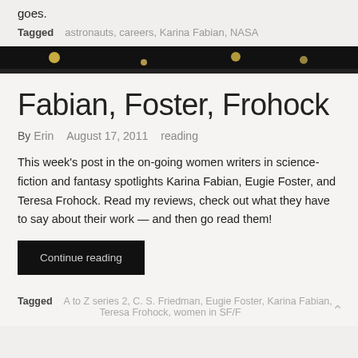goes.
Tagged   astronauts, careers, Karina Fabian, NASA
[Figure (photo): Dark banner/divider image with small light dots on black background]
Fabian, Foster, Frohock
By Erin   August 17, 2011   reading
This week's post in the on-going women writers in science-fiction and fantasy spotlights Karina Fabian, Eugie Foster, and Teresa Frohock. Read my reviews, check out what they have to say about their work — and then go read them!
Continue reading
Tagged   A to Z series 2, C. S. Friedman, Eugie Foster, Karina Fabian, Teresa Frohock, women in SF/F